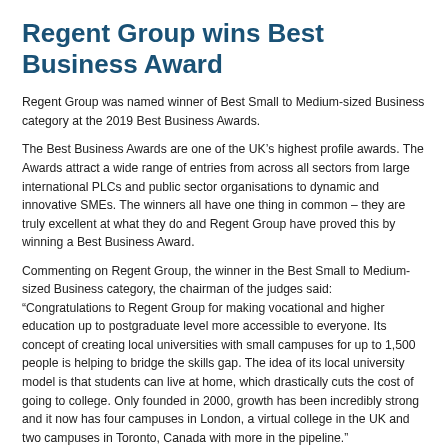Regent Group wins Best Business Award
Regent Group was named winner of Best Small to Medium-sized Business category at the 2019 Best Business Awards.
The Best Business Awards are one of the UK’s highest profile awards. The Awards attract a wide range of entries from across all sectors from large international PLCs and public sector organisations to dynamic and innovative SMEs. The winners all have one thing in common – they are truly excellent at what they do and Regent Group have proved this by winning a Best Business Award.
Commenting on Regent Group, the winner in the Best Small to Medium-sized Business category, the chairman of the judges said: “Congratulations to Regent Group for making vocational and higher education up to postgraduate level more accessible to everyone. Its concept of creating local universities with small campuses for up to 1,500 people is helping to bridge the skills gap. The idea of its local university model is that students can live at home, which drastically cuts the cost of going to college. Only founded in 2000, growth has been incredibly strong and it now has four campuses in London, a virtual college in the UK and two campuses in Toronto, Canada with more in the pipeline.”